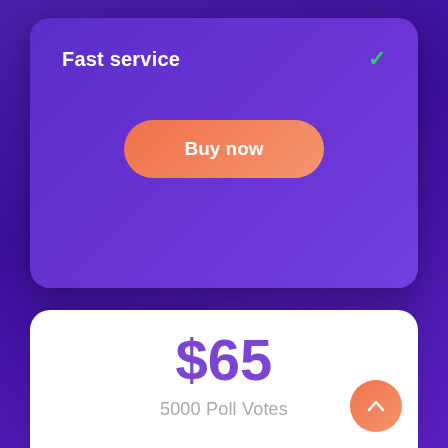Fast service
Buy now
$65
5000 Poll Votes